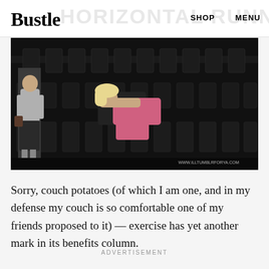Bustle  HORIZONTAL RUNNING  SHOP  MENU
[Figure (photo): Two women in a theater with black seats. One woman stands wearing a grey top and dark skirt, the other woman in a pink top is draped over the theater seats. Watermark reads WWW.ILLTUMBLRFORYA.COM]
Sorry, couch potatoes (of which I am one, and in my defense my couch is so comfortable one of my friends proposed to it) — exercise has yet another mark in its benefits column.
ADVERTISEMENT